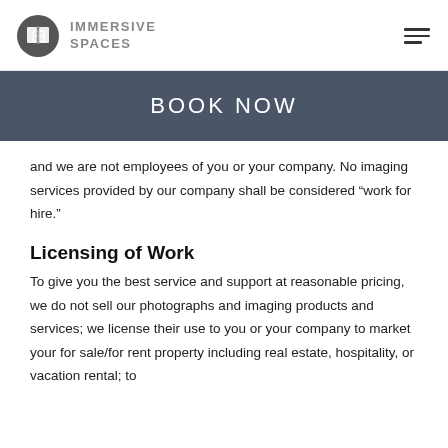IMMERSIVE SPACES
BOOK NOW
and we are not employees of you or your company. No imaging services provided by our company shall be considered “work for hire.”
Licensing of Work
To give you the best service and support at reasonable pricing, we do not sell our photographs and imaging products and services; we license their use to you or your company to market your for sale/for rent property including real estate, hospitality, or vacation rental; to